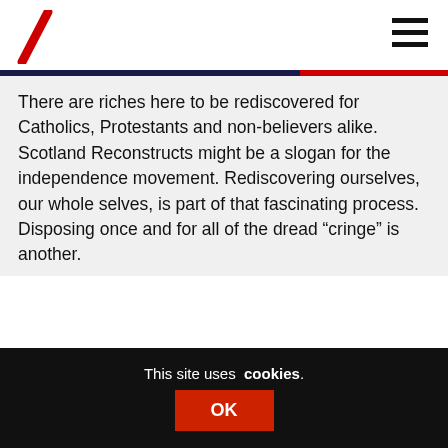There are riches here to be rediscovered for Catholics, Protestants and non-believers alike. Scotland Reconstructs might be a slogan for the independence movement. Rediscovering ourselves, our whole selves, is part of that fascinating process. Disposing once and for all of the dread “cringe” is another.
Reply
Alex Buchan
14th March 2014 at 1:50 pm
This site uses cookies. OK